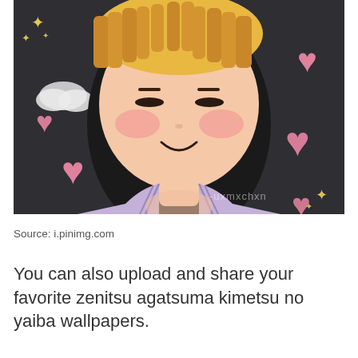[Figure (illustration): Anime-style illustration of Zenitsu Agatsuma from Kimetsu no Yaiba (Demon Slayer). The character has short orange-yellow hair with a thick brown border outline, rosy blushing cheeks, half-closed eyes, and a gentle smile. Wearing a light lavender/purple garment. Background is dark charcoal with pink heart emojis, white cloud emojis, and gold sparkle/star emojis surrounding the character. Watermark text '-uxmxchxn' visible in lower right area of image.]
Source: i.pinimg.com
You can also upload and share your favorite zenitsu agatsuma kimetsu no yaiba wallpapers.